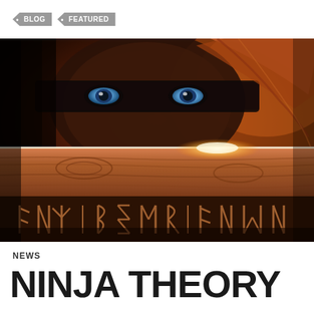• BLOG  • FEATURED
[Figure (photo): Close-up cinematic image of a warrior character with blue eyes and painted face peeking over a wooden plank engraved with runic symbols, dramatic orange/dark lighting from Hellblade by Ninja Theory]
NEWS
NINJA THEORY